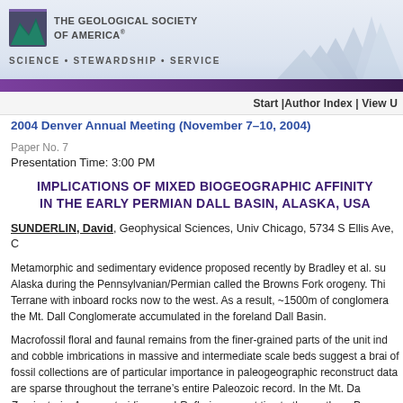[Figure (logo): The Geological Society of America logo with mountain silhouette banner and tagline SCIENCE • STEWARDSHIP • SERVICE]
Start |Author Index | View U
2004 Denver Annual Meeting (November 7–10, 2004)
Paper No. 7
Presentation Time: 3:00 PM
IMPLICATIONS OF MIXED BIOGEOGRAPHIC AFFINITY IN THE EARLY PERMIAN DALL BASIN, ALASKA, USA
SUNDERLIN, David, Geophysical Sciences, Univ Chicago, 5734 S Ellis Ave, C
Metamorphic and sedimentary evidence proposed recently by Bradley et al. su Alaska during the Pennsylvanian/Permian called the Browns Fork orogeny. Thi Terrane with inboard rocks now to the west. As a result, ~1500m of conglomera the Mt. Dall Conglomerate accumulated in the foreland Dall Basin.
Macrofossil floral and faunal remains from the finer-grained parts of the unit ind and cobble imbrications in massive and intermediate scale beds suggest a brai of fossil collections are of particular importance in paleogeographic reconstruct data are sparse throughout the terrane’s entire Paleozoic record. In the Mt. Da Zamiopteris, Angaropteridium, and Rufloria suggest ties to the northern Pangea